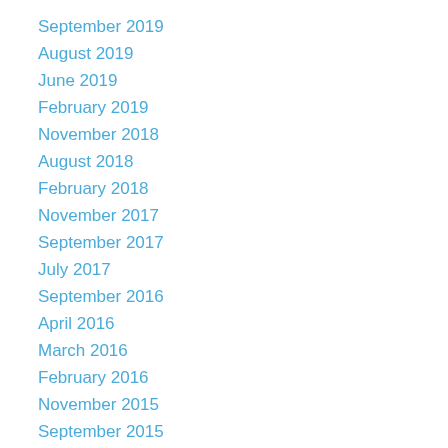September 2019
August 2019
June 2019
February 2019
November 2018
August 2018
February 2018
November 2017
September 2017
July 2017
September 2016
April 2016
March 2016
February 2016
November 2015
September 2015
July 2015
May 2015
April 2015
March 2015